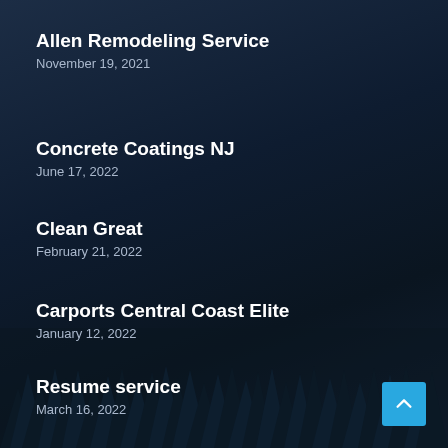Allen Remodeling Service
November 19, 2021
Concrete Coatings NJ
June 17, 2022
Clean Great
February 21, 2022
Carports Central Coast Elite
January 12, 2022
Resume service
March 16, 2022